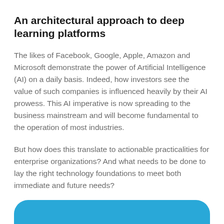An architectural approach to deep learning platforms
The likes of Facebook, Google, Apple, Amazon and Microsoft demonstrate the power of Artificial Intelligence (AI) on a daily basis. Indeed, how investors see the value of such companies is influenced heavily by their AI prowess. This AI imperative is now spreading to the business mainstream and will become fundamental to the operation of most industries.
But how does this translate to actionable practicalities for enterprise organizations? And what needs to be done to lay the right technology foundations to meet both immediate and future needs?